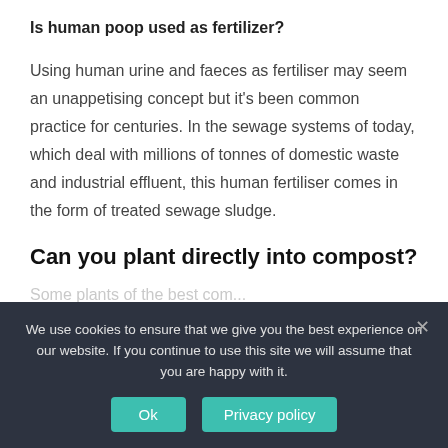Is human poop used as fertilizer?
Using human urine and faeces as fertiliser may seem an unappetising concept but it's been common practice for centuries. In the sewage systems of today, which deal with millions of tonnes of domestic waste and industrial effluent, this human fertiliser comes in the form of treated sewage sludge.
Can you plant directly into compost?
(partial/cut off)
We use cookies to ensure that we give you the best experience on our website. If you continue to use this site we will assume that you are happy with it.